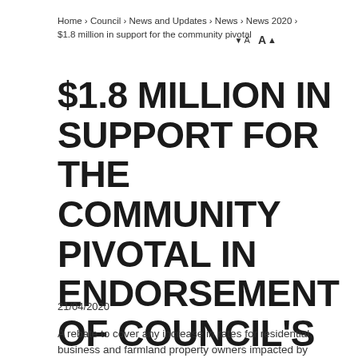Home › Council › News and Updates › News › News 2020 › $1.8 million in support for the community pivotal
$1.8 MILLION IN SUPPORT FOR THE COMMUNITY PIVOTAL IN ENDORSEMENT OF COUNCIL'S COVID-19 RESPONSE
21/04/2020
A rebate to cover any increase in rates for residential, business and farmland property owners impacted by